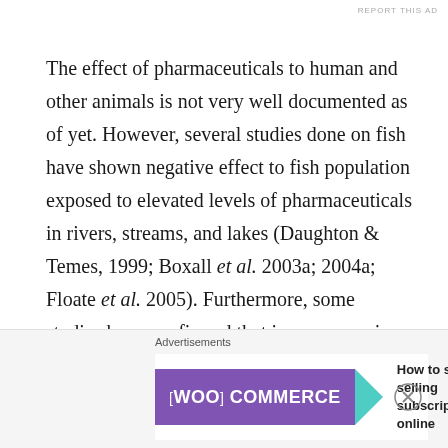The effect of pharmaceuticals to human and other animals is not very well documented as of yet. However, several studies done on fish have shown negative effect to fish population exposed to elevated levels of pharmaceuticals in rivers, streams, and lakes (Daughton & Temes, 1999; Boxall et al. 2003a; 2004a; Floate et al. 2005). Furthermore, some studies have confirmed that in some species male fish have actually turned into female when their habitats were exposed to high levels of pharmaceuticals for long durations(Brodin et al. 2014).